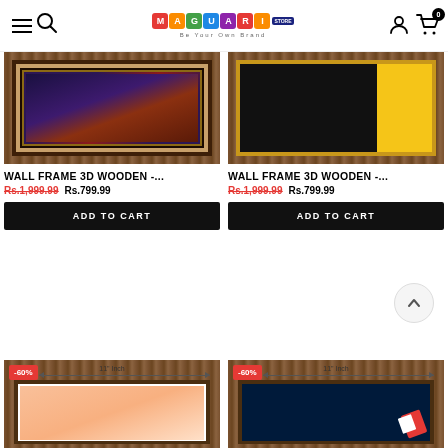Maguari Store — Be Your Own Brand
[Figure (photo): Product image of Wall Frame 3D Wooden with carpet art on wooden background, top-left card]
WALL FRAME 3D WOODEN -...
Rs.1,999.99  Rs.799.99
[Figure (photo): Product image of Wall Frame 3D Wooden with black and gold abstract art, top-right card]
WALL FRAME 3D WOODEN -...
Rs.1,999.99  Rs.799.99
[Figure (photo): Product image bottom-left: Wall Frame 3D Wooden with -60% badge and 11-inch measurement label, light pink art]
[Figure (photo): Product image bottom-right: Wall Frame 3D Wooden with -60% badge and 11-inch measurement label, dark navy art with red/white design]